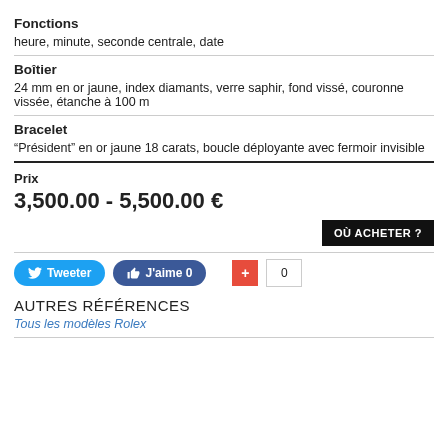Fonctions
heure, minute, seconde centrale, date
Boîtier
24 mm en or jaune, index diamants, verre saphir, fond vissé, couronne vissée, étanche à 100 m
Bracelet
“Président” en or jaune 18 carats, boucle déployante avec fermoir invisible
Prix
3,500.00 - 5,500.00 €
OÙ ACHETER ?
Tweeter  J'aime 0  0
AUTRES RÉFÉRENCES
Tous les modèles Rolex